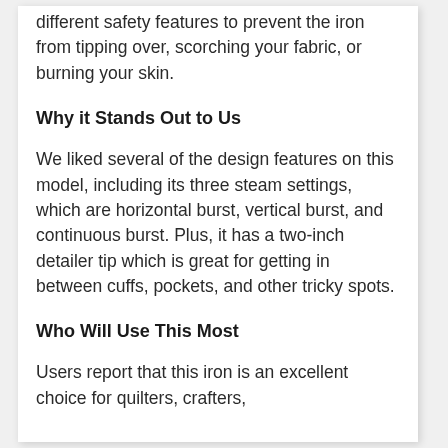different safety features to prevent the iron from tipping over, scorching your fabric, or burning your skin.
Why it Stands Out to Us
We liked several of the design features on this model, including its three steam settings, which are horizontal burst, vertical burst, and continuous burst. Plus, it has a two-inch detailer tip which is great for getting in between cuffs, pockets, and other tricky spots.
Who Will Use This Most
Users report that this iron is an excellent choice for quilters, crafters,